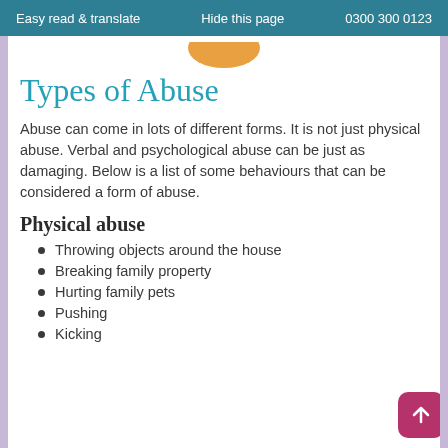Easy read & translate    Hide this page    0300 300 0123
Types of Abuse
Abuse can come in lots of different forms. It is not just physical abuse. Verbal and psychological abuse can be just as damaging. Below is a list of some behaviours that can be considered a form of abuse.
Physical abuse
Throwing objects around the house
Breaking family property
Hurting family pets
Pushing
Kicking